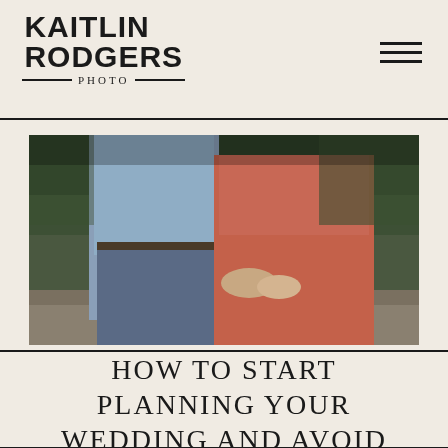[Figure (logo): Kaitlin Rodgers Photo logo — bold uppercase serif text 'KAITLIN RODGERS' with 'PHOTO' centered below flanked by horizontal rules]
[Figure (photo): Couple seated on stone outdoors — man in light blue dress shirt and jeans on left, woman in coral/rust wrap dress on right, hands intertwined, natural foliage background]
HOW TO START PLANNING YOUR WEDDING AND AVOID